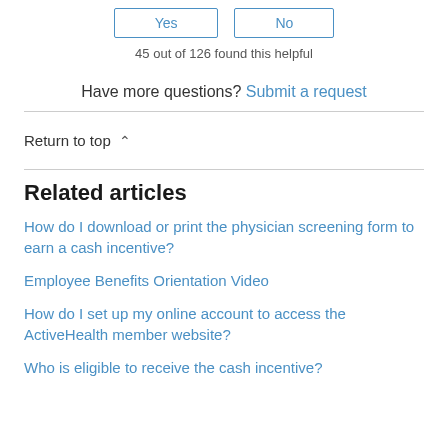Yes | No (feedback buttons)
45 out of 126 found this helpful
Have more questions? Submit a request
Return to top ∧
Related articles
How do I download or print the physician screening form to earn a cash incentive?
Employee Benefits Orientation Video
How do I set up my online account to access the ActiveHealth member website?
Who is eligible to receive the cash incentive?